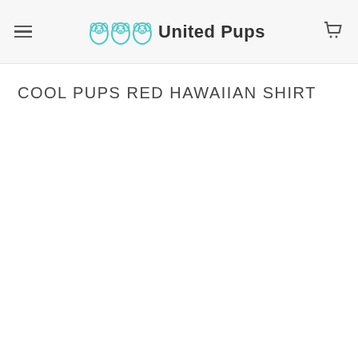United Pups
COOL PUPS RED HAWAIIAN SHIRT